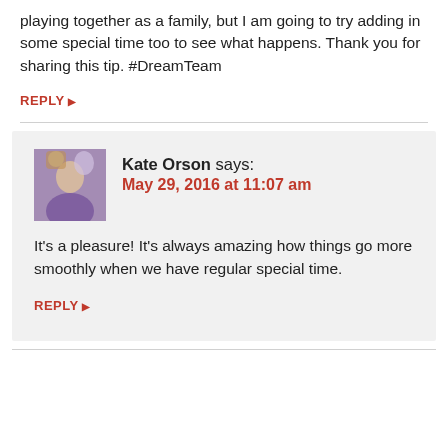playing together as a family, but I am going to try adding in some special time too to see what happens. Thank you for sharing this tip. #DreamTeam
REPLY
Kate Orson says: May 29, 2016 at 11:07 am
It's a pleasure! It's always amazing how things go more smoothly when we have regular special time.
REPLY